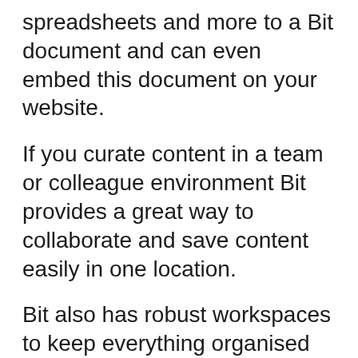spreadsheets and more to a Bit document and can even embed this document on your website.
If you curate content in a team or colleague environment Bit provides a great way to collaborate and save content easily in one location.
Bit also has robust workspaces to keep everything organised like your curated content can stay in separate folders, making it easy to locate and use when necessary.
Cost: Free plan with limited features and PRO plan starts at $8/month paid annually. Education & Non-